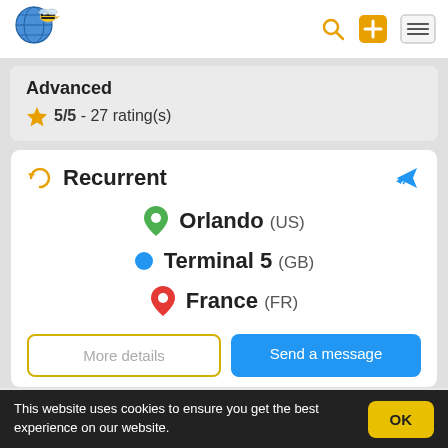[Figure (logo): Bee with globe logo for a travel/swap website]
Advanced
★ 5/5 - 27 rating(s)
⟳  Recurrent
Orlando (US)
Terminal 5 (GB)
France (FR)
More details
Send a message
This website uses cookies to ensure you get the best experience on our website.
OK